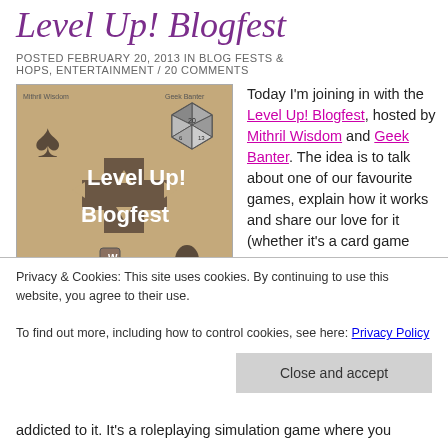Level Up! Blogfest
POSTED FEBRUARY 20, 2013 IN BLOG FESTS & HOPS, ENTERTAINMENT / 20 COMMENTS
[Figure (illustration): Level Up! Blogfest promotional image with gaming icons including dice, playing card suits, and keyboard WASD keys on a tan/brown background]
Today I'm joining in with the Level Up! Blogfest, hosted by Mithril Wisdom and Geek Banter. The idea is to talk about one of our favourite games, explain how it works and share our love for it (whether it's a card game
Privacy & Cookies: This site uses cookies. By continuing to use this website, you agree to their use.
To find out more, including how to control cookies, see here: Privacy Policy
Close and accept
addicted to it. It's a roleplaying simulation game where you